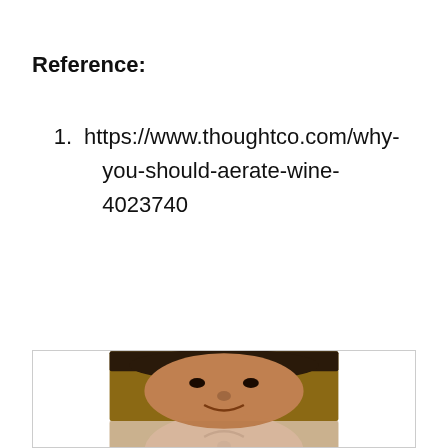Reference:
https://www.thoughtco.com/why-you-should-aerate-wine-4023740
[Figure (photo): A photograph of a person's face, shown centered within a bordered box. The image appears to show a man with dark hair. The reflection/mirrored version of the face is visible below the actual photo.]